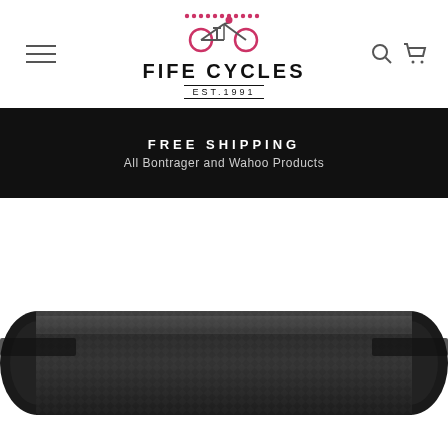Fife Cycles EST.1991 — navigation header with hamburger menu, logo, search and cart icons
FREE SHIPPING
All Bontrager and Wahoo Products
[Figure (photo): Close-up product photo of a carbon fiber bicycle bottom bracket or handlebar grip component, dark/black carbon weave texture, shot against white background]